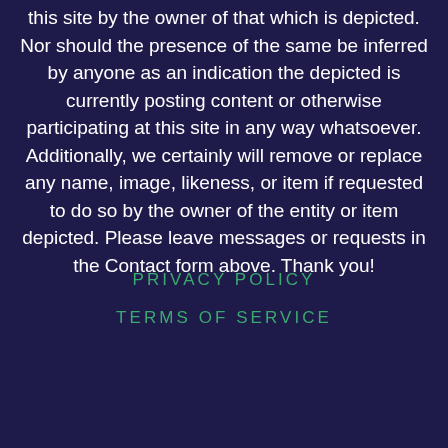this site by the owner of that which is depicted. Nor should the presence of the same be inferred by anyone as an indication the depicted is currently posting content or otherwise participating at this site in any way whatsoever. Additionally, we certainly will remove or replace any name, image, likeness, or item if requested to do so by the owner of the entity or item depicted. Please leave messages or requests in the Contact form above. Thank you!
PRIVACY POLICY
TERMS OF SERVICE